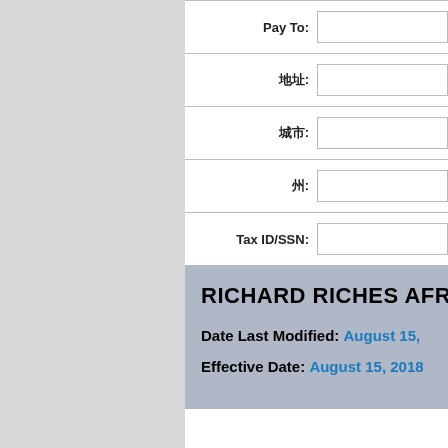| Pay To: |  |
| 地址: |  |
| 城市: |  |
| 州: |  |
| Tax ID/SSN: |  |
RICHARD RICHES AFR
Date Last Modified: August 15,
Effective Date: August 15, 2018